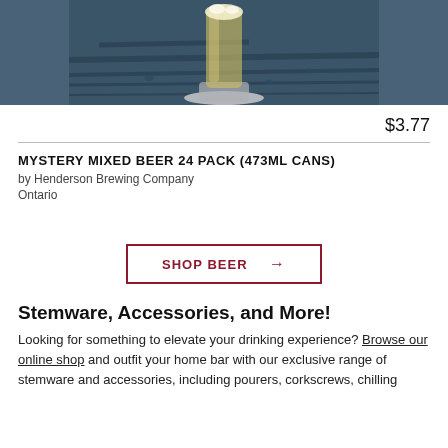[Figure (photo): Photo of a beer glass on a wooden surface, partially cropped at top]
$3.77
MYSTERY MIXED BEER 24 PACK (473ML CANS)
by Henderson Brewing Company
Ontario
SHOP BEER →
Stemware, Accessories, and More!
Looking for something to elevate your drinking experience? Browse our online shop and outfit your home bar with our exclusive range of stemware and accessories, including pourers, corkscrews, chilling